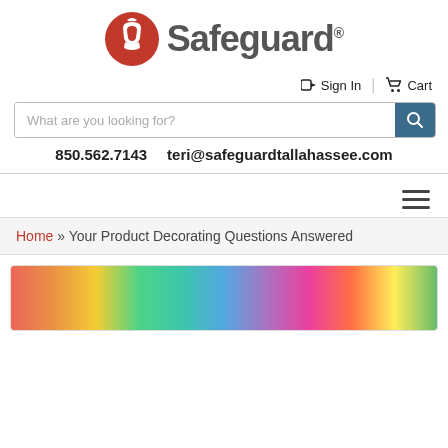[Figure (logo): Safeguard logo with red circle containing a Roman/Spartan helmet and the text 'Safeguard' in gray]
➜) Sign In   🛒 Cart
What are you looking for? [search bar]
850.562.7143   teri@safeguardtallahassee.com
☰ (hamburger menu icon)
Home » Your Product Decorating Questions Answered
[Figure (photo): Colorful rainbow/watercolor abstract banner image at the bottom of the page]